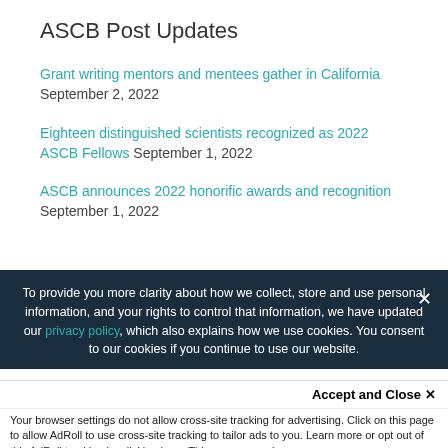ASCB Post Updates
Grant writing mentors and mentees gather in California September 2, 2022
Eighteen distinguished scientists recognized as 2022 ASCB Fellows September 1, 2022
ASCB announces 2022 honorific awards and recognition September 1, 2022
To provide you more clarity about how we collect, store and use personal information, and your rights to control that information, we have updated our privacy policy, which also explains how we use cookies. You consent to our cookies if you continue to use our website.
Accept and Close ✕
Your browser settings do not allow cross-site tracking for advertising. Click on this page to allow AdRoll to use cross-site tracking to tailor ads to you. Learn more or opt out of this AdRoll tracking by clicking here. This message only appears once.